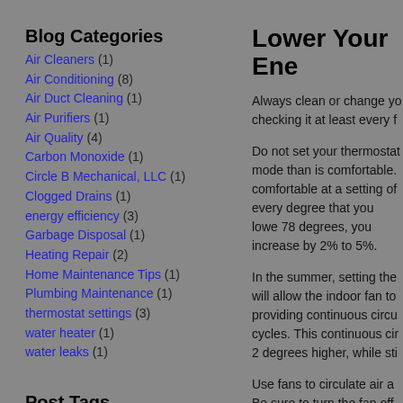Blog Categories
Air Cleaners (1)
Air Conditioning (8)
Air Duct Cleaning (1)
Air Purifiers (1)
Air Quality (4)
Carbon Monoxide (1)
Circle B Mechanical, LLC (1)
Clogged Drains (1)
energy efficiency (3)
Garbage Disposal (1)
Heating Repair (2)
Home Maintenance Tips (1)
Plumbing Maintenance (1)
thermostat settings (3)
water heater (1)
water leaks (1)
Post Tags
Air conditioning(7)
air conditioning repair(3)
Air conditioning service(6)
Bixby(1)
Bristow(1)
burst pipes(1)
Lower Your Ene...
Always clean or change yo... checking it at least every f...
Do not set your thermostat... mode than is comfortable. comfortable at a setting of... every degree that you lowe... 78 degrees, you increase ... by 2% to 5%.
In the summer, setting the... will allow the indoor fan to... providing continuous circu... cycles. This continuous cir... 2 degrees higher, while sti...
Use fans to circulate air a... Be sure to turn the fan off...
If you have a routine sche... can save you money by of... home.
Do not turn off your air co...